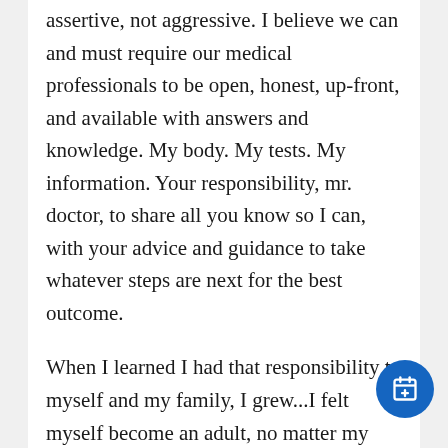assertive, not aggressive. I believe we can and must require our medical professionals to be open, honest, up-front, and available with answers and knowledge. My body. My tests. My information. Your responsibility, mr. doctor, to share all you know so I can, with your advice and guidance to take whatever steps are next for the best outcome.
When I learned I had that responsibility to myself and my family, I grew...I felt myself become an adult, no matter my numeric age. I grew up and began taking responsibility and not let the medical folks take away my determination. You be strong, develop a steel backbone. Hold